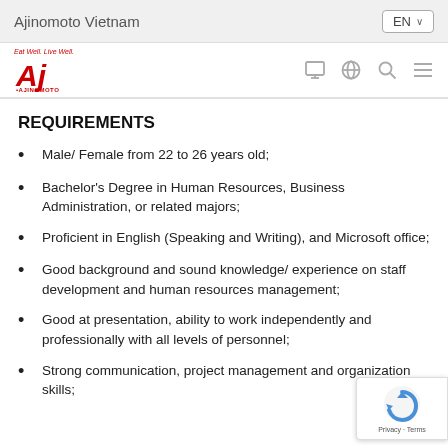Ajinomoto Vietnam
[Figure (logo): Ajinomoto logo with 'Eat Well, Live Well' tagline in red]
REQUIREMENTS
Male/ Female from 22 to 26 years old;
Bachelor's Degree in Human Resources, Business Administration, or related majors;
Proficient in English (Speaking and Writing), and Microsoft office;
Good background and sound knowledge/ experience on staff development and human resources management;
Good at presentation, ability to work independently and professionally with all levels of personnel;
Strong communication, project management and organization skills;